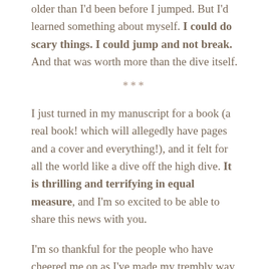older than I'd been before I jumped. But I'd learned something about myself. I could do scary things. I could jump and not break. And that was worth more than the dive itself.
***
I just turned in my manuscript for a book (a real book! which will allegedly have pages and a cover and everything!), and it felt for all the world like a dive off the high dive. It is thrilling and terrifying in equal measure, and I'm so excited to be able to share this news with you.
I'm so thankful for the people who have cheered me on as I've made my trembly way to the edge of the diving board, and those are family, friends, the flock...